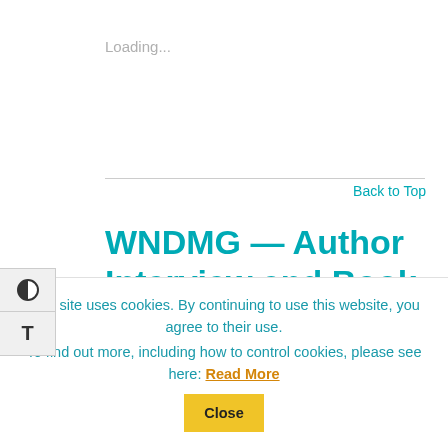Loading...
Back to Top
WNDMG — Author Interview and Book Giveaway
By Aixa Perez-Prado on February 8, 2021 / Articles, WNDMG
This site uses cookies. By continuing to use this website, you agree to their use.
To find out more, including how to control cookies, please see here: Read More   Close